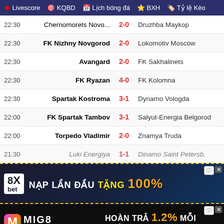Livescore  KQBD  Lịch bóng đá  BXH  Tỷ lệ Kèo
| Time | Home | Score | Away |
| --- | --- | --- | --- |
| 22:30 | Chernomorets Novo... | 2-0 | Druzhba Maykop |
| 22:30 | FK Nizhny Novgorod | 2-0 | Lokomotiv Moscow |
| 22:30 | Avangard | 2-0 | FK Sakhalinets |
| 22:30 | FK Ryazan | 4-0 | FK Kolomna |
| 22:30 | Spartak Kostroma | 3-1 | Dynamo Vologda |
| 22:00 | FK Spartak Tambov | 3-1 | Salyut-Energia Belgorod |
| 22:00 | Torpedo Vladimir | 2-0 | Znamya Truda |
| 21:30 | Luki Energiya | 1-1 | Dinamo Saint Petersb. |
[Figure (infographic): 8Xbet advertisement banner: NAP LAN DAU TANG 100%]
[Figure (infographic): MIG8 advertisement banner: HOAN TRA 1.2% MOI NGAY]
[Figure (infographic): Adult app advertisement: THIEN DUONG CHO TAT CA DAN ONG APP 18+ DAU TIEN TRONG NUOC XINH.TV]